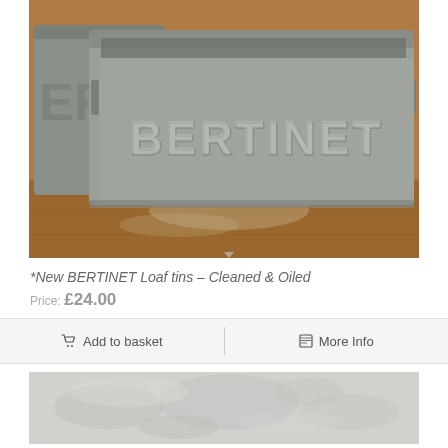[Figure (photo): Close-up photo of a rectangular metal BERTINET branded loaf tin on a wooden surface. The tin is grey/silver galvanized metal with 'BERTINET' embossed on the front. Another tin is partially visible behind it.]
*New BERTINET Loaf tins – Cleaned & Oiled
Price: £24.00
Add to basket
More Info
[Figure (photo): Close-up photo of white flour or powdery surface with impressions/marks in it, appearing light grey/white.]